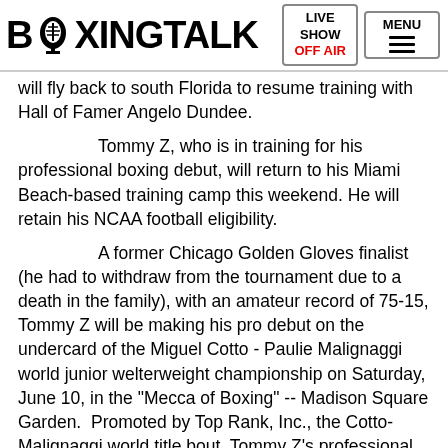BOXINGTALK | LIVE SHOW OFF AIR | MENU
will fly back to south Florida to resume training with Hall of Famer Angelo Dundee.
Tommy Z, who is in training for his professional boxing debut, will return to his Miami Beach-based training camp this weekend. He will retain his NCAA football eligibility.
A former Chicago Golden Gloves finalist (he had to withdraw from the tournament due to a death in the family), with an amateur record of 75-15, Tommy Z will be making his pro debut on the undercard of the Miguel Cotto - Paulie Malignaggi world junior welterweight championship on Saturday, June 10, in the "Mecca of Boxing" -- Madison Square Garden.  Promoted by Top Rank, Inc., the Cotto-Malignaggi world title bout, Tommy Z's professional debut, and four additional fights will be televised Live on Pay Per View, beginning at